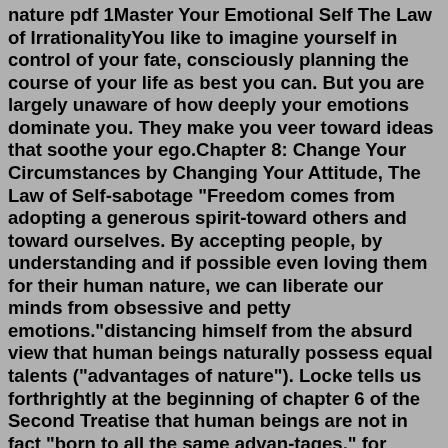nature pdf 1Master Your Emotional Self The Law of IrrationalityYou like to imagine yourself in control of your fate, consciously planning the course of your life as best you can. But you are largely unaware of how deeply your emotions dominate you. They make you veer toward ideas that soothe your ego.Chapter 8: Change Your Circumstances by Changing Your Attitude, The Law of Self-sabotage "Freedom comes from adopting a generous spirit-toward others and toward ourselves. By accepting people, by understanding and if possible even loving them for their human nature, we can liberate our minds from obsessive and petty emotions."distancing himself from the absurd view that human beings naturally possess equal talents ("advantages of nature"). Locke tells us forthrightly at the beginning of chapter 6 of the Second Treatise that human beings are not in fact "born to all the same advan-tages," for "excellency of parts . . . may place [some people] above theMar 31, 2020 · Addeddate 2020-03-31 05:56:06 Identifier thelawsofhumannature Identifier-ark